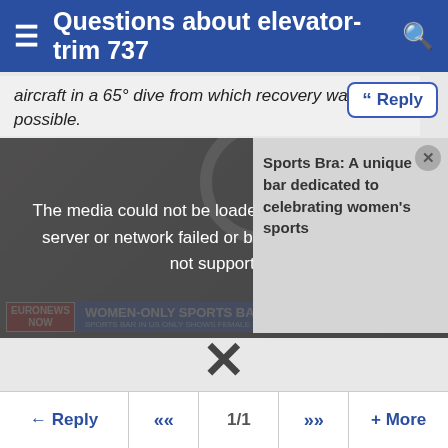Questions about elevator-trim 737
aircraft in a 65° dive from which recovery wasn't possible.
[Figure (screenshot): Video player showing a news segment about 'Women-Only Sports Bar' with a media error overlay saying 'The media could not be loaded, either because the server or network failed or because the format is not supported.' An advertisement overlay on the right shows 'Sports Bra: A unique bar dedicated to celebrating women's sports'. A close (X) button is visible.]
manoeuvre, stick force with acceleration (g).
A pilot can detect zero force, but not 'neutral' stick position without a reference point or scale.
A 'neutral' position (constant speed, zero force, in trim, no manoeuvre) can vary with speed range, configuration, cg, etc.
Reply  «  1/1  »  + More